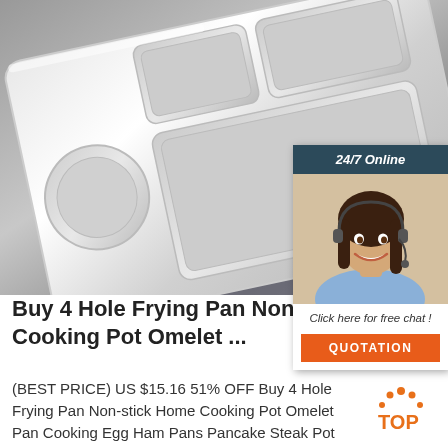[Figure (photo): Stainless steel divided meal tray / lunch tray with multiple compartments, photographed on a gray background with geometric patterned surface partially visible.]
[Figure (infographic): Chat widget overlay showing '24/7 Online' header in dark teal, photo of female customer service agent with headset smiling, text 'Click here for free chat!', and orange 'QUOTATION' button.]
Buy 4 Hole Frying Pan Non-stick Home Cooking Pot Omelet ...
(BEST PRICE) US $15.16 51% OFF Buy 4 Hole Frying Pan Non-stick Home Cooking Pot Omelet Pan Cooking Egg Ham Pans Pancake Steak Pot